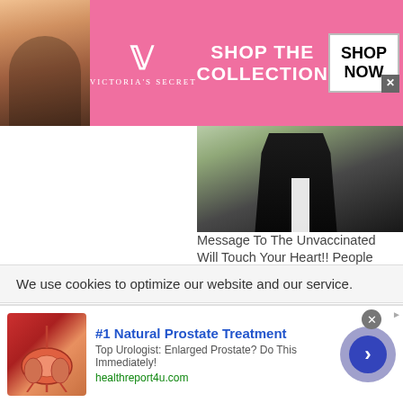[Figure (photo): Victoria's Secret advertisement banner with pink background, model on left, VS logo, 'SHOP THE COLLECTION' text, and 'SHOP NOW' button]
[Figure (photo): Partial photo of a person in a dark suit]
Message To The Unvaccinated Will Touch Your Heart!! People capable of such personality, courage, and criticality are undoubtedly the best of mankind viewed recently: 7141
[Figure (photo): Partial view of a yellow and black radiation/hazard warning symbol]
We use cookies to optimize our website and our service.
[Figure (photo): Bottom advertisement for #1 Natural Prostate Treatment with anatomical illustration, text by healthreport4u.com]